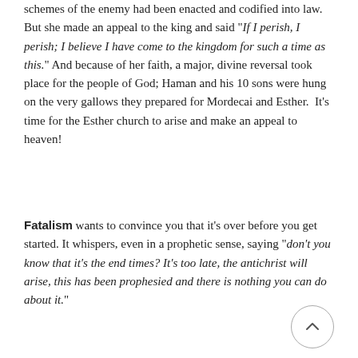schemes of the enemy had been enacted and codified into law. But she made an appeal to the king and said "If I perish, I perish; I believe I have come to the kingdom for such a time as this." And because of her faith, a major, divine reversal took place for the people of God; Haman and his 10 sons were hung on the very gallows they prepared for Mordecai and Esther.  It's time for the Esther church to arise and make an appeal to heaven!
Fatalism wants to convince you that it's over before you get started. It whispers, even in a prophetic sense, saying "don't you know that it's the end times? It's too late, the antichrist will arise, this has been prophesied and there is nothing you can do about it."